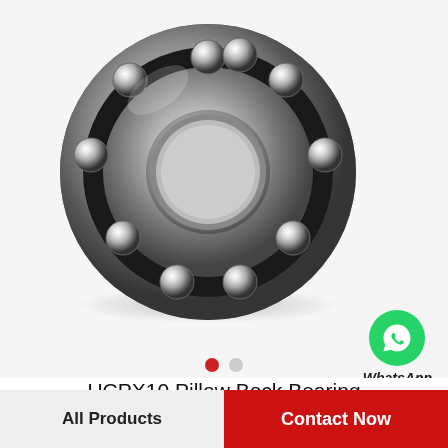[Figure (photo): A metallic ball bearing (open, no shield) viewed from above, showing multiple steel balls in a circular race. Background is white/light gray. A WhatsApp Online icon (green circle with phone handset) appears in the lower right of the image area.]
UCPX10 Pillow Bock Bearing 50x63.5x241mm
All Products    Contact Now